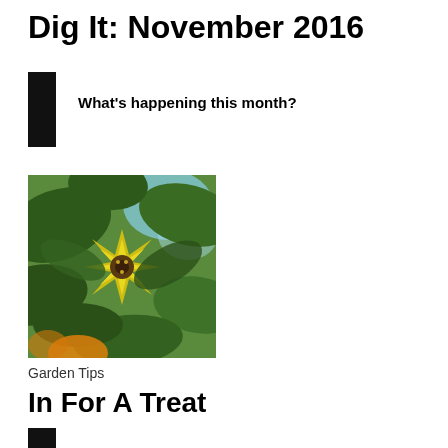Dig It: November 2016
What's happening this month?
[Figure (photo): Close-up photo of a yellow star-shaped flower (persimmon flower) surrounded by large green leaves on a tree.]
Garden Tips
In For A Treat
For sweet, cool-weather fruit, plant persimmon trees